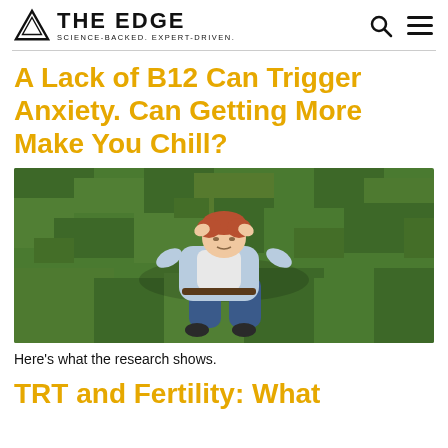THE EDGE — SCIENCE-BACKED. EXPERT-DRIVEN.
A Lack of B12 Can Trigger Anxiety. Can Getting More Make You Chill?
[Figure (photo): Aerial view of a man lying on grass with hands behind his head, looking relaxed and peaceful]
Here's what the research shows.
TRT and Fertility: What